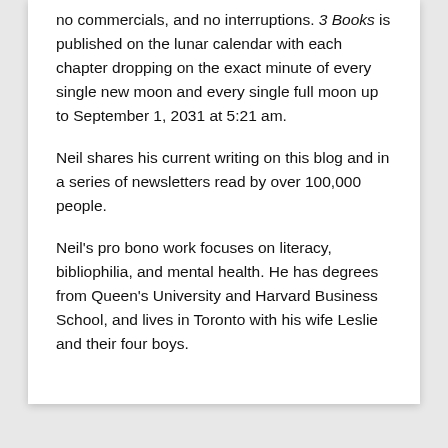no commercials, and no interruptions. 3 Books is published on the lunar calendar with each chapter dropping on the exact minute of every single new moon and every single full moon up to September 1, 2031 at 5:21 am.
Neil shares his current writing on this blog and in a series of newsletters read by over 100,000 people.
Neil's pro bono work focuses on literacy, bibliophilia, and mental health. He has degrees from Queen's University and Harvard Business School, and lives in Toronto with his wife Leslie and their four boys.